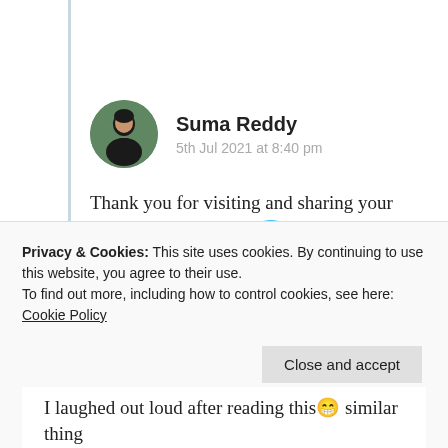Suma Reddy
5th Jul 2021 at 8:40 pm
Thank you for visiting and sharing your lovely views Pavithra 😇❤
★ Liked by 1 person
Log in to Reply
Privacy & Cookies: This site uses cookies. By continuing to use this website, you agree to their use. To find out more, including how to control cookies, see here: Cookie Policy
Close and accept
I laughed out loud after reading this 😁 similar thing